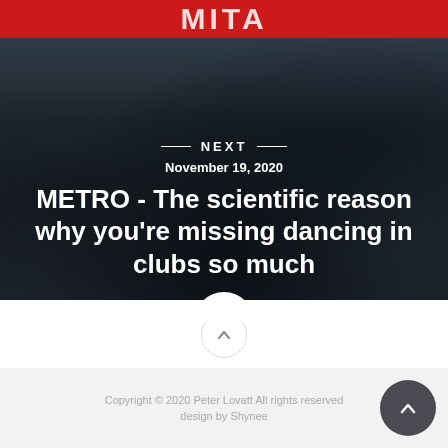[Figure (photo): Hero image showing a crowd of people dancing at a club/event, viewed from above/behind. Red MITA banner at top. Dark overlay with text overlay showing NEXT navigation element.]
NEXT
November 19, 2020
METRO - The scientific reason why you're missing dancing in clubs so much
Copyright © 2020 Peter Lovatt All rights reserved design by Shynee